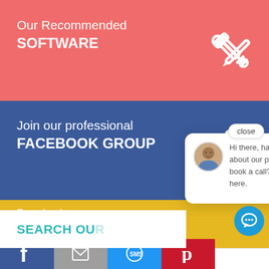[Figure (screenshot): Website sidebar/widget panel screenshot showing three colored sections: red 'Our Recommended SOFTWARE' with wrench icon, blue 'Join our professional FACEBOOK GROUP' with Facebook logo, yellow 'Download our EMAIL TEMPLATES' section, a search bar with 'SEARCH OUR...' in teal text, a chat popup bubble with avatar and message 'Hi there, have a question about our programs or book a call? Text us here.', a 'close' button, a blue chat circle icon at bottom right, and a bottom social sharing bar with Facebook, email, SMS, Pinterest buttons.]